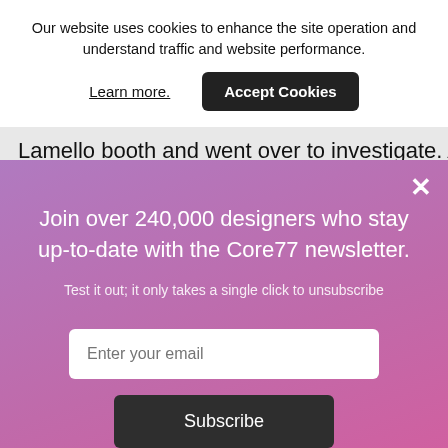Our website uses cookies to enhance the site operation and understand traffic and website performance.
Learn more.
Accept Cookies
Lamello booth and went over to investigate. A
×
Join over 240,000 designers who stay up-to-date with the Core77 newsletter.
Test it out; it only takes a single click to unsubscribe
Enter your email
Subscribe